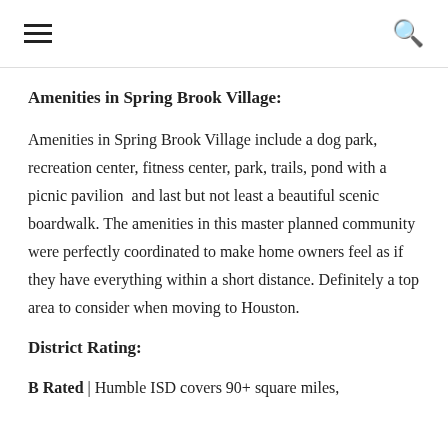≡  🔍
Amenities in Spring Brook Village:
Amenities in Spring Brook Village include a dog park, recreation center, fitness center, park, trails, pond with a picnic pavilion  and last but not least a beautiful scenic boardwalk. The amenities in this master planned community were perfectly coordinated to make home owners feel as if they have everything within a short distance. Definitely a top area to consider when moving to Houston.
District Rating:
B Rated | Humble ISD covers 90+ square miles,